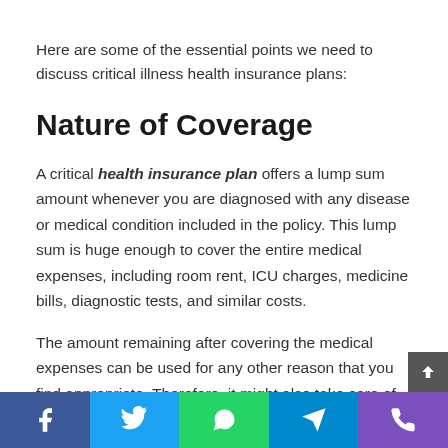Here are some of the essential points we need to discuss critical illness health insurance plans:
Nature of Coverage
A critical health insurance plan offers a lump sum amount whenever you are diagnosed with any disease or medical condition included in the policy. This lump sum is huge enough to cover the entire medical expenses, including room rent, ICU charges, medicine bills, diagnostic tests, and similar costs.
The amount remaining after covering the medical expenses can be used for any other reason that you find appropriate. Therefore, it might also take care of the monetary losses yo
Facebook | Twitter | WhatsApp | Telegram | Phone